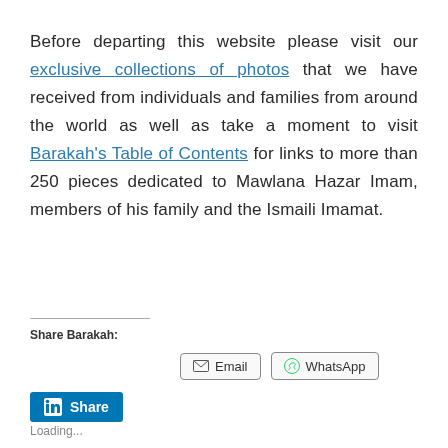Before departing this website please visit our exclusive collections of photos that we have received from individuals and families from around the world as well as take a moment to visit Barakah's Table of Contents for links to more than 250 pieces dedicated to Mawlana Hazar Imam, members of his family and the Ismaili Imamat.
Share Barakah:
Email | WhatsApp | Share (LinkedIn)
Loading...